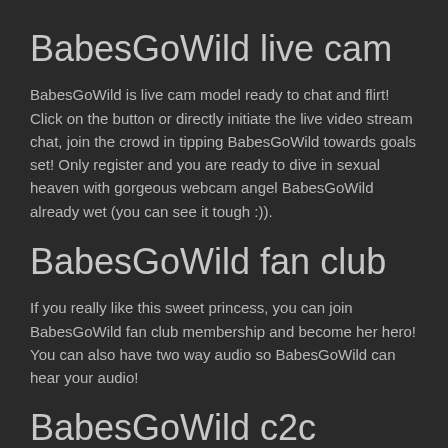BabesGoWild live cam
BabesGoWild is live cam model ready to chat and flirt! Click on the button or directly initiate the live video stream chat, join the crowd in tipping BabesGoWild towards goals set! Only register and you are ready to dive in sexual heaven with gorgeous webcam angel BabesGoWild already wet (you can see it tough :)).
BabesGoWild fan club
If you really like this sweet princess, you can join BabesGoWild fan club membership and become her hero! You can also have two way audio so BabesGoWild can hear your audio!
BabesGoWild c2c
C2C (cam to cam, or cam 2 cam) option is used for ultimate